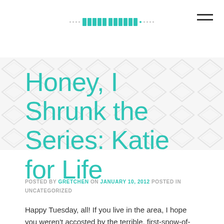[blog logo] [hamburger menu]
Honey, I Shrunk the Series: Katie for Life
POSTED BY GRETCHEN ON JANUARY 10, 2012 POSTED IN UNCATEGORIZED
Happy Tuesday, all! If you live in the area, I hope you weren't accosted by the terrible, first-snow-of-